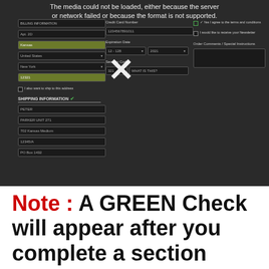[Figure (screenshot): Screenshot of a web form with billing and shipping information fields, credit card number, expiration date, security code fields, checkboxes for terms and newsletter, and order comments area. A large white X is overlaid on the center of the image. The media could not be loaded error message appears at the top.]
Note : A GREEN Check will appear after you complete a section correctly.